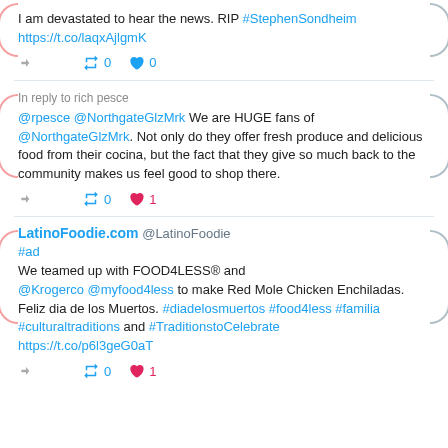I am devastated to hear the news. RIP #StephenSondheim https://t.co/laqxAjlgmK
In reply to rich pesce
@rpesce @NorthgateGlzMrk We are HUGE fans of @NorthgateGlzMrk. Not only do they offer fresh produce and delicious food from their cocina, but the fact that they give so much back to the community makes us feel good to shop there.
LatinoFoodie.com @LatinoFoodie #ad We teamed up with FOOD4LESS® and @Krogerco @myfood4less to make Red Mole Chicken Enchiladas. Feliz dia de los Muertos. #diadelosmuertos #food4less #familia #culturaltraditions and #TraditionstoCelebrate https://t.co/p6l3geG0aT